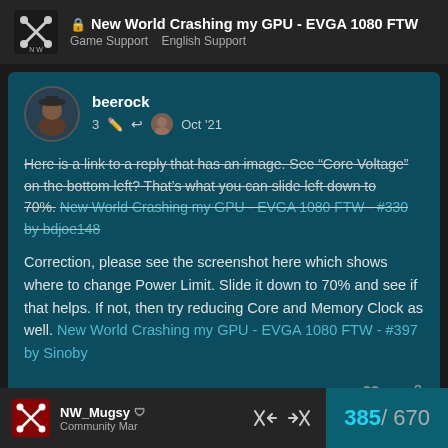New World Crashing my GPU - EVGA 1080 FTW | Game Support  English Support
beerock  3  Oct '21
Here is a link to a reply that has an image. See "Core Voltage" on the bottom left? That's what you can slide left down to 70%. New World Crashing my GPU - EVGA 1080 FTW - #330 by bdjoe148
Correction, please see the screenshot here which shows where to change Power Limit. Slide it down to 70% and see if that helps. If not, then try reducing Core and Memory Clock as well. New World Crashing my GPU - EVGA 1080 FTW - #397 by Sinoby
NW_Mugsy  Community Mar  385 / 670